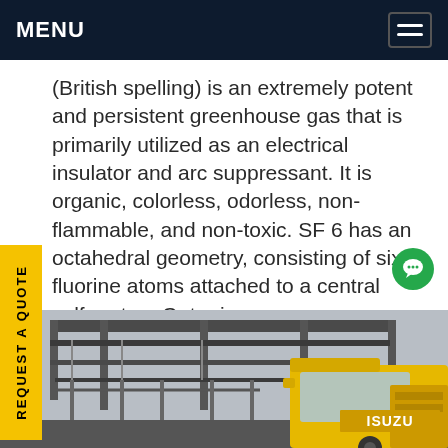MENU
(British spelling) is an extremely potent and persistent greenhouse gas that is primarily utilized as an electrical insulator and arc suppressant. It is organic, colorless, odorless, non-flammable, and non-toxic. SF 6 has an octahedral geometry, consisting of six fluorine atoms attached to a central sulfur atom.Get price
[Figure (photo): Electrical substation with overhead structures and a yellow Isuzu truck parked in front.]